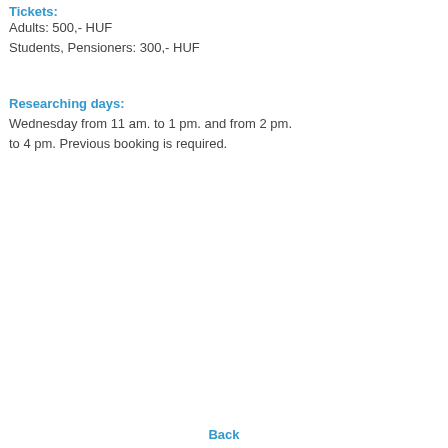Tickets:
Adults: 500,- HUF
Students, Pensioners: 300,- HUF
Researching days:
Wednesday from 11 am. to 1 pm. and from 2 pm. to 4 pm. Previous booking is required.
Back